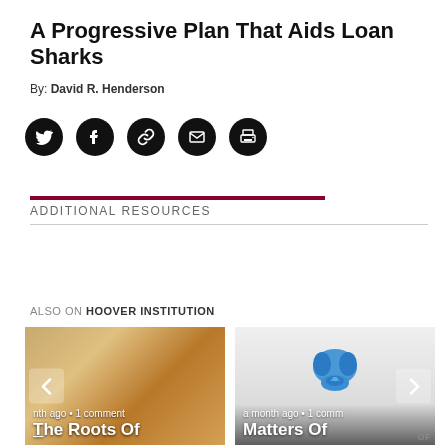A Progressive Plan That Aids Loan Sharks
By: David R. Henderson
[Figure (other): Social share icons: Twitter, Facebook, Link, Email, Print]
ADDITIONAL RESOURCES
ALSO ON HOOVER INSTITUTION
[Figure (photo): Card 1: Photo of rolled dollar bills with caption 'a month ago • 1 comment' and title 'The Roots Of']
[Figure (photo): Card 2: Hoover Institution logo (brain/capitol dome icon) with caption 'a month ago • 1 comm' and title 'Matters Of']